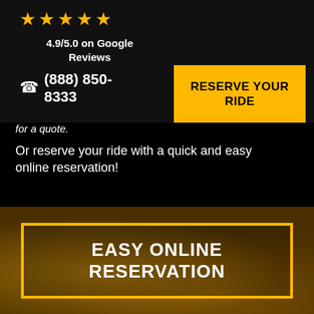[Figure (illustration): Five yellow gold stars rating]
4.9/5.0 on Google Reviews
☎ (888) 850-8333
RESERVE YOUR RIDE
for a quote.
Or reserve your ride with a quick and easy online reservation!
EASY ONLINE RESERVATION
[Figure (photo): Background photo of a building with American flag and decorative statues at night with warm golden lighting]